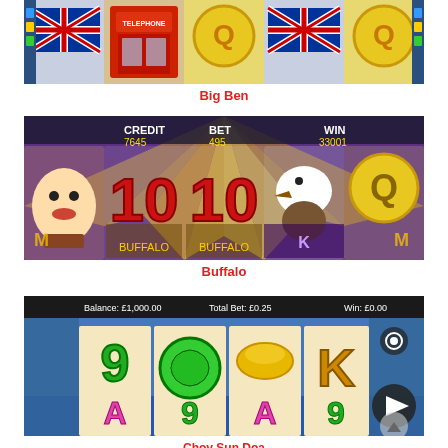[Figure (screenshot): Big Ben slot machine game screenshot showing reels with UK flag, red phone box, coin symbols]
Big Ben
[Figure (screenshot): Buffalo slot machine game screenshot showing reels with 10, eagle, Q symbols on purple/yellow background with CREDIT 7645, BET 495, WIN 33001]
Buffalo
[Figure (screenshot): Choy Sun Doa slot machine game screenshot showing reels with 9, A, K symbols, Balance £1,000.00, Total Bet £0.25, Win £0.00, The God of Wealth is coming!]
Choy Sun Doa